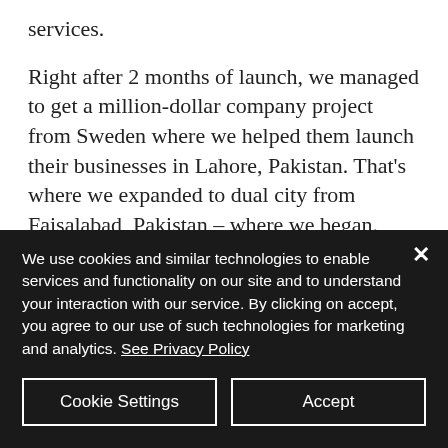services.
Right after 2 months of launch, we managed to get a million-dollar company project from Sweden where we helped them launch their businesses in Lahore, Pakistan. That's where we expanded to dual city from Faisalabad, Pakistan – where we began. Right after 1 year of launch, Pentamark Group managed to get so
We use cookies and similar technologies to enable services and functionality on our site and to understand your interaction with our service. By clicking on accept, you agree to our use of such technologies for marketing and analytics. See Privacy Policy
Cookie Settings
Accept